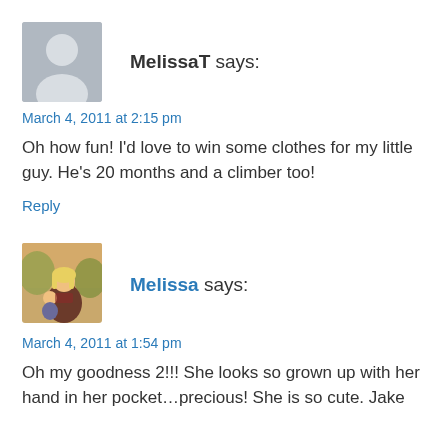[Figure (illustration): Grey placeholder avatar silhouette icon for MelissaT]
MelissaT says:
March 4, 2011 at 2:15 pm
Oh how fun! I'd love to win some clothes for my little guy. He's 20 months and a climber too!
Reply
[Figure (photo): Photo of Melissa, a blonde woman holding a child outdoors]
Melissa says:
March 4, 2011 at 1:54 pm
Oh my goodness 2!!! She looks so grown up with her hand in her pocket…precious! She is so cute. Jake